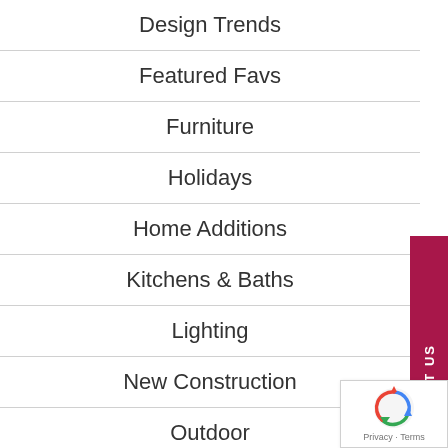Design Trends
Featured Favs
Furniture
Holidays
Home Additions
Kitchens & Baths
Lighting
New Construction
Outdoor
Projects